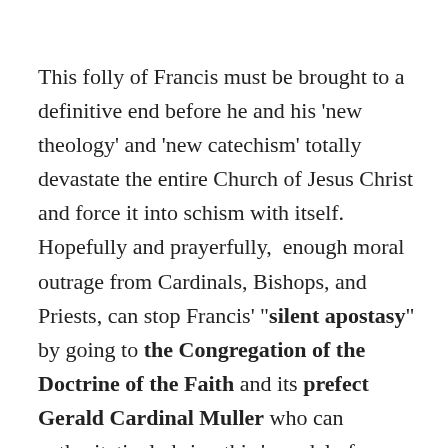This folly of Francis must be brought to a definitive end before he and his 'new theology' and 'new catechism' totally devastate the entire Church of Jesus Christ and force it into schism with itself. Hopefully and prayerfully,  enough moral outrage from Cardinals, Bishops, and Priests, can stop Francis' "silent apostasy" by going to the Congregation of the Doctrine of the Faith and its prefect Gerald Cardinal Muller who can authoritatively bring this 'scandal of scandals'  to a screeching halt  by declaring Francis as the heretic, apostate, and schismatic "Bishop of Rome" that he truly is;